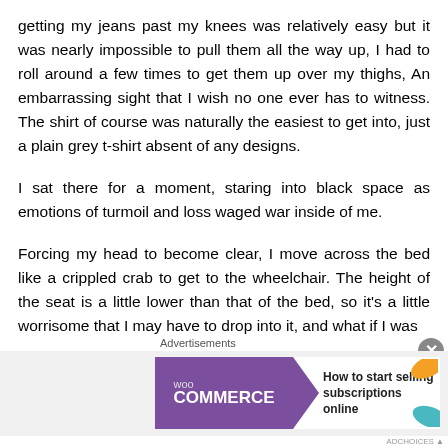getting my jeans past my knees was relatively easy but it was nearly impossible to pull them all the way up, I had to roll around a few times to get them up over my thighs, An embarrassing sight that I wish no one ever has to witness. The shirt of course was naturally the easiest to get into, just a plain grey t-shirt absent of any designs.
I sat there for a moment, staring into black space as emotions of turmoil and loss waged war inside of me.
Forcing my head to become clear, I move across the bed like a crippled crab to get to the wheelchair. The height of the seat is a little lower than that of the bed, so it's a little worrisome that I may have to drop into it, and what if I was
[Figure (other): WooCommerce advertisement banner: 'How to start selling subscriptions online']